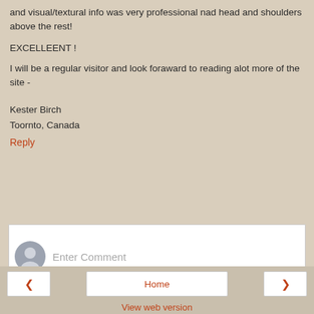and visual/textural info was very professional nad head and shoulders above the rest!
EXCELLEENT !
I will be a regular visitor and look foraward to reading alot more of the site -
Kester Birch
Toornto, Canada
Reply
[Figure (other): Comment input box with user avatar icon and placeholder text 'Enter Comment']
< Home > View web version